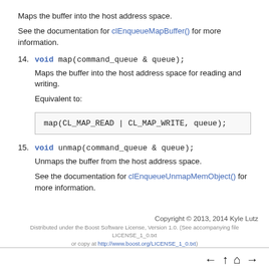Maps the buffer into the host address space.
See the documentation for clEnqueueMapBuffer() for more information.
14. void map(command_queue & queue);
Maps the buffer into the host address space for reading and writing.
Equivalent to:
map(CL_MAP_READ | CL_MAP_WRITE, queue);
15. void unmap(command_queue & queue);
Unmaps the buffer from the host address space.
See the documentation for clEnqueueUnmapMemObject() for more information.
Copyright © 2013, 2014 Kyle Lutz
Distributed under the Boost Software License, Version 1.0. (See accompanying file LICENSE_1_0.txt or copy at http://www.boost.org/LICENSE_1_0.txt)